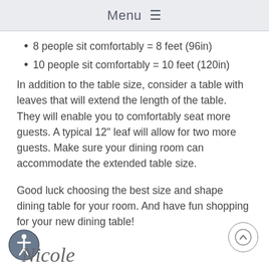Menu ≡
8 people sit comfortably = 8 feet (96in)
10 people sit comfortably = 10 feet (120in)
In addition to the table size, consider a table with leaves that will extend the length of the table. They will enable you to comfortably seat more guests. A typical 12" leaf will allow for two more guests. Make sure your dining room can accommodate the extended table size.
Good luck choosing the best size and shape dining table for your room. And have fun shopping for your new dining table!
[Figure (illustration): Accessibility icon - circular badge with person figure in dark blue-gray]
[Figure (illustration): Scroll-to-top circular arrow button]
[Figure (illustration): Cursive signature reading Nicole]